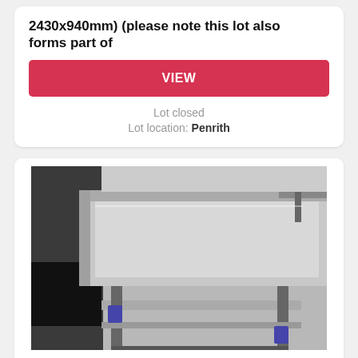2430x940mm) (please note this lot also forms part of
VIEW
Lot closed
Lot location: Penrith
[Figure (photo): Photograph of a stainless steel bench with two shelves and legs, with auction lot tags attached, situated in a commercial kitchen environment.]
Lot 30
Stainless Steel Bench (Approximately 610x610mm) (please note this lot also forms